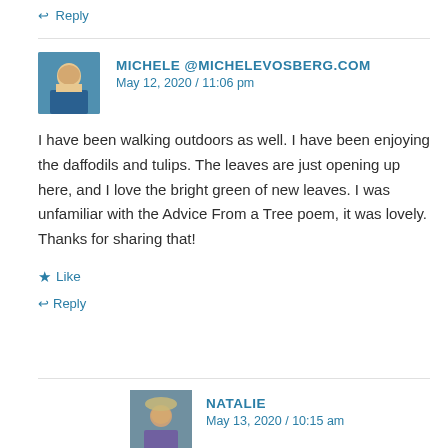↩ Reply
MICHELE @MICHELEVOSBERG.COM
May 12, 2020 / 11:06 pm
I have been walking outdoors as well. I have been enjoying the daffodils and tulips. The leaves are just opening up here, and I love the bright green of new leaves. I was unfamiliar with the Advice From a Tree poem, it was lovely. Thanks for sharing that!
★ Like
↩ Reply
NATALIE
May 13, 2020 / 10:15 am